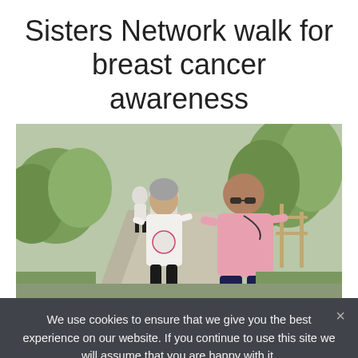Sisters Network walk for breast cancer awareness
[Figure (photo): A group of people walking on a sidewalk path, wearing white t-shirts with a Sisters Network logo, participating in a breast cancer awareness walk. In the foreground, a woman in white and a man in a pink polo shirt are walking. Green trees and bushes are visible in the background.]
We use cookies to ensure that we give you the best experience on our website. If you continue to use this site we will assume that you are happy with it.